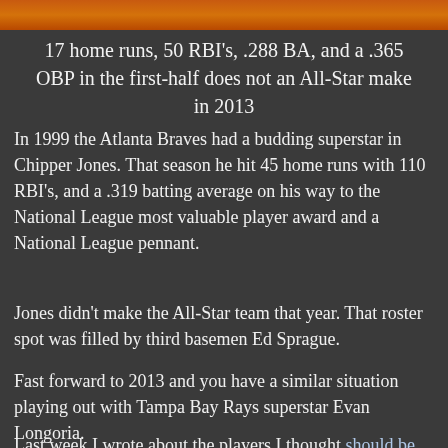[Figure (photo): Partial view of a baseball field with orange/brown dirt tones at the top of the page]
17 home runs, 50 RBI's, .288 BA, and a .365 OBP in the first-half does not an All-Star make in 2013
In 1999 the Atlanta Braves had a budding superstar in Chipper Jones. That season he hit 45 home runs with 110 RBI's, and a .319 batting average on his way to the National League most valuable player award and a National League pennant.
Jones didn't make the All-Star team that year. That roster spot was filled by third basemen Ed Sprague.
Fast forward to 2013 and you have a similar situation playing out with Tampa Bay Rays superstar Evan Longoria.
Last week I wrote about the players I thought should be given serious All-Star consideration but might